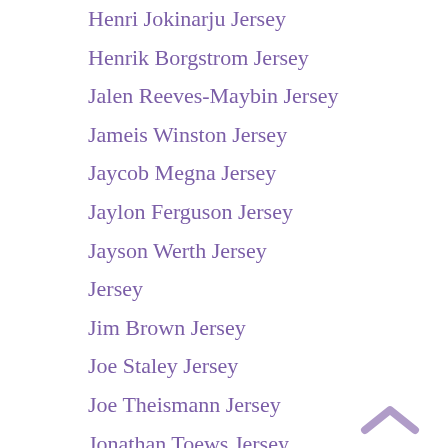Henri Jokinarju Jersey
Henrik Borgstrom Jersey
Jalen Reeves-Maybin Jersey
Jameis Winston Jersey
Jaycob Megna Jersey
Jaylon Ferguson Jersey
Jayson Werth Jersey
Jersey
Jim Brown Jersey
Joe Staley Jersey
Joe Theismann Jersey
Jonathan Toews Jersey
Josh Archibald Jersey
Josh Jackson Jersey